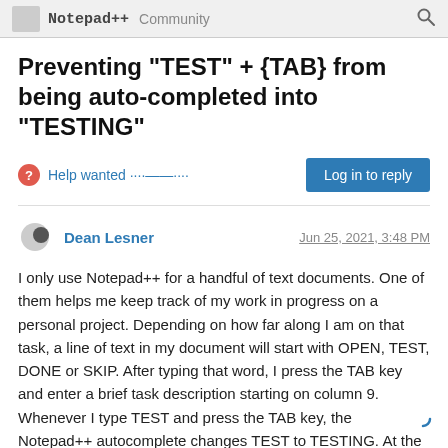Notepad++ Community
Preventing "TEST" + {TAB} from being auto-completed into "TESTING"
Help wanted ····——····
Log in to reply
Dean Lesner
Jun 25, 2021, 3:48 PM
I only use Notepad++ for a handful of text documents. One of them helps me keep track of my work in progress on a personal project. Depending on how far along I am on that task, a line of text in my document will start with OPEN, TEST, DONE or SKIP. After typing that word, I press the TAB key and enter a brief task description starting on column 9. Whenever I type TEST and press the TAB key, the Notepad++ autocomplete changes TEST to TESTING. At the moment, my workaround is to type TEST, followed by a space, followed by the TAB key. That works, but it's a bit annoying. Is there a file I can edit so that I can either remove TESTING from the autocomplete list or just change it to TEST? I found "testing/S" in